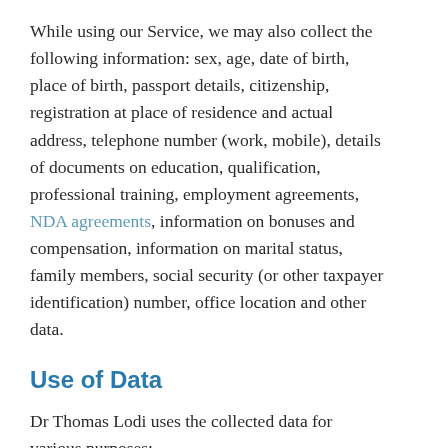While using our Service, we may also collect the following information: sex, age, date of birth, place of birth, passport details, citizenship, registration at place of residence and actual address, telephone number (work, mobile), details of documents on education, qualification, professional training, employment agreements, NDA agreements, information on bonuses and compensation, information on marital status, family members, social security (or other taxpayer identification) number, office location and other data.
Use of Data
Dr Thomas Lodi uses the collected data for various purposes:
to provide and maintain our Service;